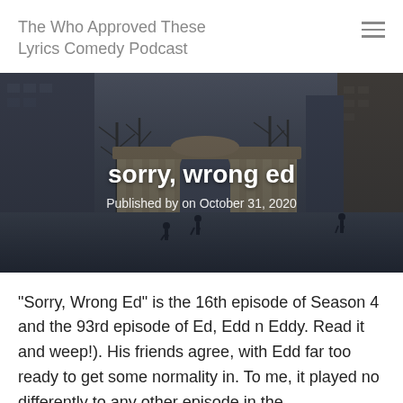The Who Approved These Lyrics Comedy Podcast
[Figure (photo): Panoramic outdoor photo of a classical rotunda building in a city plaza, with tall buildings on either side, bare winter trees, overcast sky, and people walking in the foreground. Dark overlay applied.]
sorry, wrong ed
Published by on October 31, 2020
"Sorry, Wrong Ed" is the 16th episode of Season 4 and the 93rd episode of Ed, Edd n Eddy. Read it and weep!). His friends agree, with Edd far too ready to get some normality in. To me, it played no differently to any other episode in the